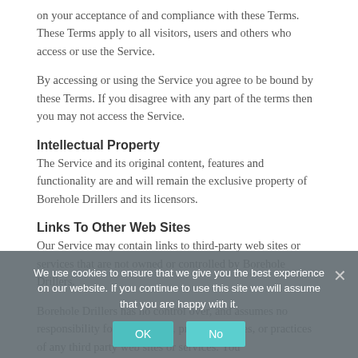on your acceptance of and compliance with these Terms. These Terms apply to all visitors, users and others who access or use the Service.
By accessing or using the Service you agree to be bound by these Terms. If you disagree with any part of the terms then you may not access the Service.
Intellectual Property
The Service and its original content, features and functionality are and will remain the exclusive property of Borehole Drillers and its licensors.
Links To Other Web Sites
Our Service may contain links to third-party web sites or services that are not owned or controlled by Borehole Drillers.
Borehole Drillers has no control over, and assumes no responsibility for, the content, privacy policies, or practices of any third party web sites or services. You
We use cookies to ensure that we give you the best experience on our website. If you continue to use this site we will assume that you are happy with it.